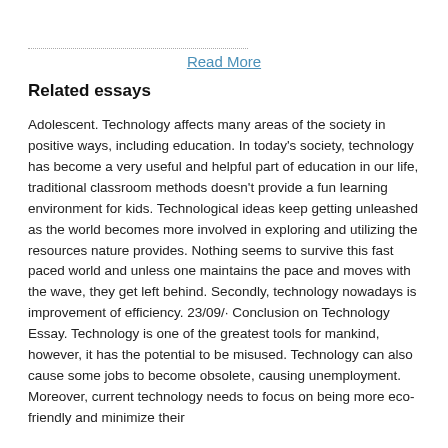Read More
Related essays
Adolescent. Technology affects many areas of the society in positive ways, including education. In today’s society, technology has become a very useful and helpful part of education in our life, traditional classroom methods doesn’t provide a fun learning environment for kids. Technological ideas keep getting unleashed as the world becomes more involved in exploring and utilizing the resources nature provides. Nothing seems to survive this fast paced world and unless one maintains the pace and moves with the wave, they get left behind. Secondly, technology nowadays is improvement of efficiency. 23/09/· Conclusion on Technology Essay. Technology is one of the greatest tools for mankind, however, it has the potential to be misused. Technology can also cause some jobs to become obsolete, causing unemployment. Moreover, current technology needs to focus on being more eco-friendly and minimize their